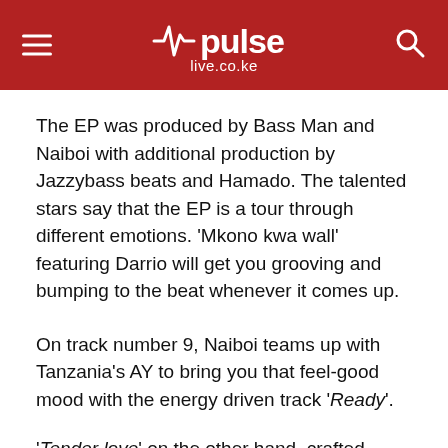pulse live.co.ke
The EP was produced by Bass Man and Naiboi with additional production by Jazzybass beats and Hamado. The talented stars say that the EP is a tour through different emotions. ‘Mkono kwa wall’ featuring Darrio will get you grooving and bumping to the beat whenever it comes up.
On track number 9, Naiboi teams up with Tanzania’s AY to bring you that feel-good mood with the energy driven track ‘Ready’.
‘Tender love’ on the other hand, crafted poetically introduces the loge feel on the Album as ‘Mali’ and ‘Monica’ are all about beautiful women, the kind that one